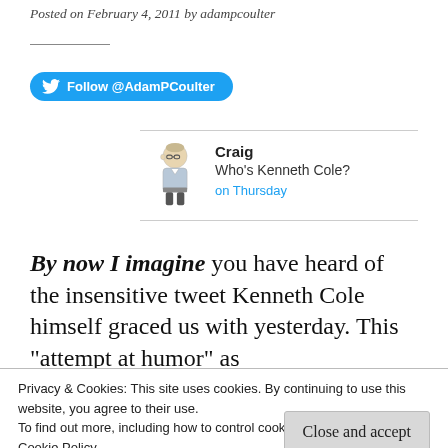Posted on February 4, 2011 by adampcoulter
[Figure (other): Twitter Follow button: Follow @AdamPCoulter]
[Figure (other): Tweet card: Craig avatar illustration, name Craig, text 'Who's Kenneth Cole?', timestamp 'on Thursday']
By now I imagine you have heard of the insensitive tweet Kenneth Cole himself graced us with yesterday. This "attempt at humor" as
Privacy & Cookies: This site uses cookies. By continuing to use this website, you agree to their use.
To find out more, including how to control cookies, see here:
Cookie Policy
learned from the game, I decided to cover what